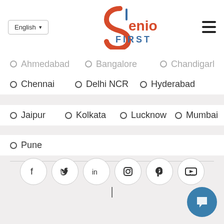[Figure (logo): Seniors First logo with stylized S in red/orange and blue text]
Ahmedabad
Bangalore
Chandigarh
Chennai
Delhi NCR
Hyderabad
Jaipur
Kolkata
Lucknow
Mumbai
Pune
[Figure (infographic): Row of 6 social media icon circles: Facebook, Twitter, LinkedIn, Instagram, Pinterest, YouTube]
|